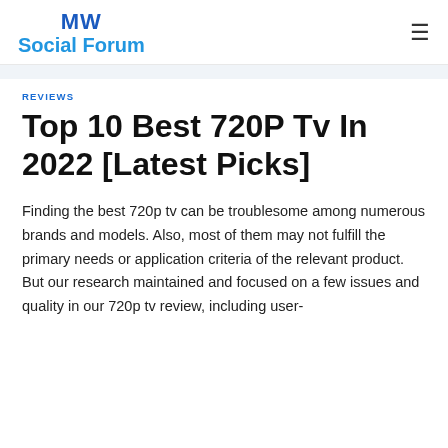MW Social Forum
REVIEWS
Top 10 Best 720P Tv In 2022 [Latest Picks]
Finding the best 720p tv can be troublesome among numerous brands and models. Also, most of them may not fulfill the primary needs or application criteria of the relevant product. But our research maintained and focused on a few issues and quality in our 720p tv review, including user-